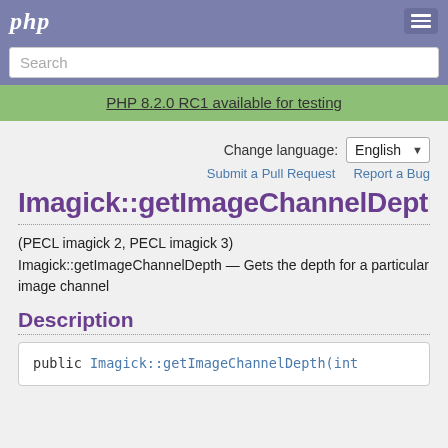php
Search
PHP 8.2.0 RC1 available for testing
Change language: English
Submit a Pull Request   Report a Bug
Imagick::getImageChannelDepth
(PECL imagick 2, PECL imagick 3)
Imagick::getImageChannelDepth — Gets the depth for a particular image channel
Description
public Imagick::getImageChannelDepth(int